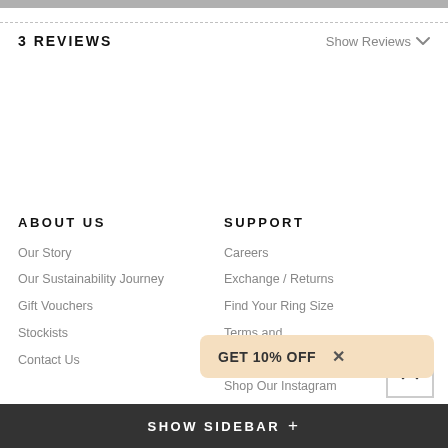3 REVIEWS
Show Reviews
ABOUT US
Our Story
Our Sustainability Journey
Gift Vouchers
Stockists
Contact Us
SUPPORT
Careers
Exchange / Returns
Find Your Ring Size
Terms and
Privacy Po
Shop Our Instagram
GET 10% OFF
SHOW SIDEBAR +